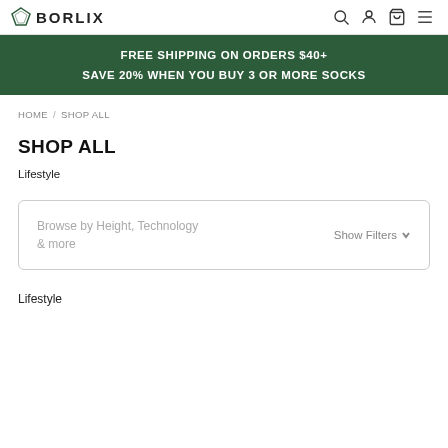BORLIX
FREE SHIPPING ON ORDERS $40+
SAVE 20% WHEN YOU BUY 3 OR MORE SOCKS
HOME / SHOP ALL
SHOP ALL
Lifestyle
Browse by Height, Technology & more    Show Filters
Lifestyle